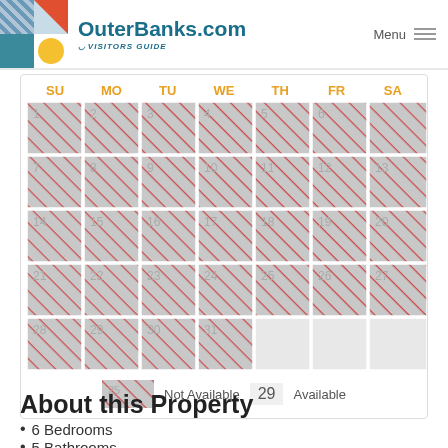OuterBanks.com - Visitors Guide
[Figure (other): Availability calendar showing a month with all dates marked as Not Available (gray with red diagonal stripes). Days SU MO TU WE TH FR SA shown as column headers in orange. Calendar dates 1-31 visible. Legend shows gray striped box = Not Available, 29 = Available.]
Not Available  29  Available
About this Property
6 Bedrooms
5 Bathrooms
Linens Provided FREE with this